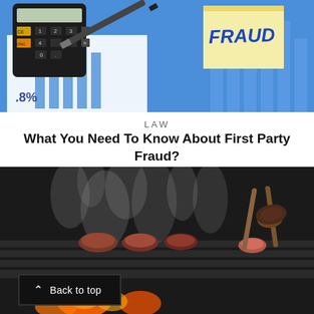[Figure (photo): Calculator with keys, a pen, blue bar chart paper, and a sticky note that reads FRAUD in blue handwriting on a yellow sticky note, on a blue background. Percent sign visible in lower left.]
LAW
What You Need To Know About First Party Fraud?
[Figure (photo): Close-up of meat pieces cooking on a hot grill with smoke rising and flames visible below. Tongs holding a piece of meat in the upper right.]
Back to top